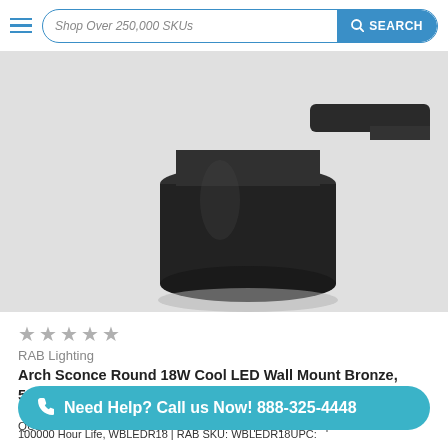Shop Over 250,000 SKUs  SEARCH
[Figure (photo): Close-up photo of a dark bronze/black round LED wall sconce light fixture against a white background]
★ ★ ★ ★ ★
RAB Lighting
Arch Sconce Round 18W Cool LED Wall Mount Bronze, 5100K (Cool), 100000 Hour Life, WBLEDR18 | RAB
QUESTIONS? MOUNTING | ACCESSORIES | REQUESTS | VOL
Rou
Need Help? Call us Now! 888-325-4448
100000 Hour Life, WBLEDR18 | RAB SKU: WBLEDR18UPC: